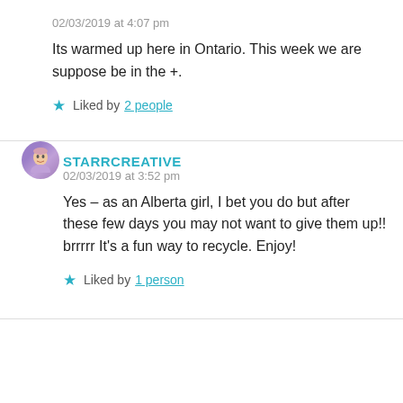02/03/2019 at 4:07 pm
Its warmed up here in Ontario. This week we are suppose be in the +.
Liked by 2 people
STARRCREATIVE
02/03/2019 at 3:52 pm
Yes – as an Alberta girl, I bet you do but after these few days you may not want to give them up!! brrrrr It's a fun way to recycle. Enjoy!
Liked by 1 person